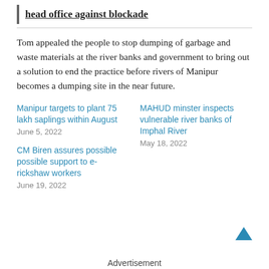head office against blockade
Tom appealed the people to stop dumping of garbage and waste materials at the river banks and government to bring out a solution to end the practice before rivers of Manipur becomes a dumping site in the near future.
Manipur targets to plant 75 lakh saplings within August
June 5, 2022
MAHUD minster inspects vulnerable river banks of Imphal River
May 18, 2022
CM Biren assures possible possible support to e-rickshaw workers
June 19, 2022
Advertisement